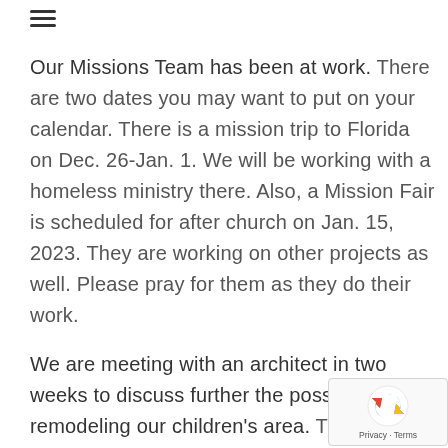≡
Our Missions Team has been at work. There are two dates you may want to put on your calendar. There is a mission trip to Florida on Dec. 26-Jan. 1. We will be working with a homeless ministry there. Also, a Mission Fair is scheduled for after church on Jan. 15, 2023. They are working on other projects as well. Please pray for them as they do their work.

We are meeting with an architect in two weeks to discuss further the possibility of remodeling our children's area. This is our second meeting with him. There are no plans to suddenly act on this. I just want to keep you informed.